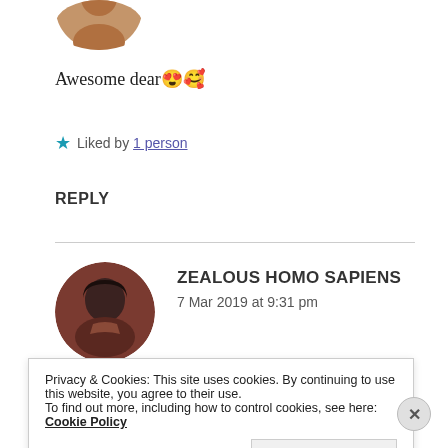[Figure (photo): Cropped circular avatar photo showing a person, partially visible at top of page]
Awesome dear😍🥰
★ Liked by 1 person
REPLY
[Figure (photo): Circular avatar photo of Zealous Homo Sapiens commenter, dark reddish-brown tones showing a person with dark hair]
ZEALOUS HOMO SAPIENS
7 Mar 2019 at 9:31 pm
Privacy & Cookies: This site uses cookies. By continuing to use this website, you agree to their use.
To find out more, including how to control cookies, see here: Cookie Policy
Close and accept